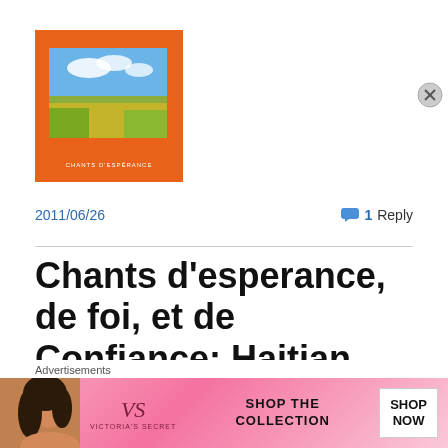[Figure (illustration): Orange album cover with a landscape photograph inset showing green fields under a blue sky with clouds, and a small text label at the bottom center of the orange cover]
2011/06/26
1 Reply
Chants d’esperance, de foi, et de Confiance: Haitian Chants of Hope, Faith and Confidence
[Figure (advertisement): Victoria's Secret advertisement banner with a model, VS logo, 'SHOP THE COLLECTION' text and 'SHOP NOW' call-to-action button]